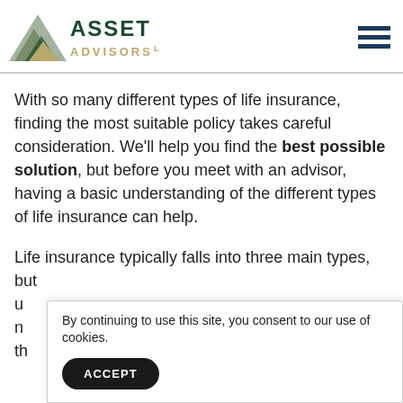[Figure (logo): Asset Advisors LLC logo with triangular mountain graphic and company name in dark green and gold]
With so many different types of life insurance, finding the most suitable policy takes careful consideration. We'll help you find the best possible solution, but before you meet with an advisor, having a basic understanding of the different types of life insurance can help.
Life insurance typically falls into three main types, but u... n... th...
By continuing to use this site, you consent to our use of cookies.
ACCEPT